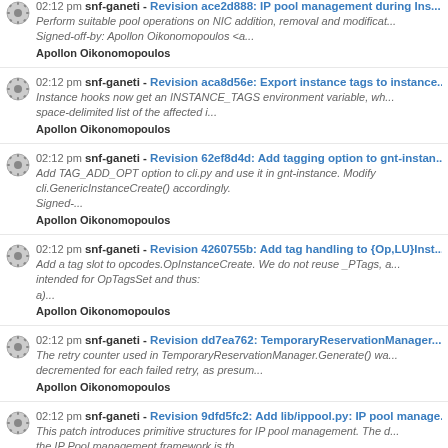02:12 pm snf-ganeti - Revision aca8d56e: Export instance tags to instance hooks. Instance hooks now get an INSTANCE_TAGS environment variable, wh... space-delimited list of the affected i... Apollon Oikonomopoulos
02:12 pm snf-ganeti - Revision 62ef8d4d: Add tagging option to gnt-instance. Add TAG_ADD_OPT option to cli.py and use it in gnt-instance. Modify cli.GenericInstanceCreate() accordingly. Signed-... Apollon Oikonomopoulos
02:12 pm snf-ganeti - Revision 4260755b: Add tag handling to {Op,LU}Inst... Add a tag slot to opcodes.OpInstanceCreate. We do not reuse _PTags, a... intended for OpTagsSet and thus: a)... Apollon Oikonomopoulos
02:12 pm snf-ganeti - Revision dd7ea762: TemporaryReservationManager... The retry counter used in TemporaryReservationManager.Generate() wa... decremented for each failed retry, as presum... Apollon Oikonomopoulos
02:12 pm snf-ganeti - Revision 9dfd5fc2: Add lib/ippool.py: IP pool manage... This patch introduces primitive structures for IP pool management. The d... the IP Pool management framework is th... Apollon Oikonomopoulos
02:12 pm snf-ganeti - Revision 62a7762b: Add config objects and methods... This patch introduces the following changes to lib.config and lib.objects t... facilitate IP pool management.